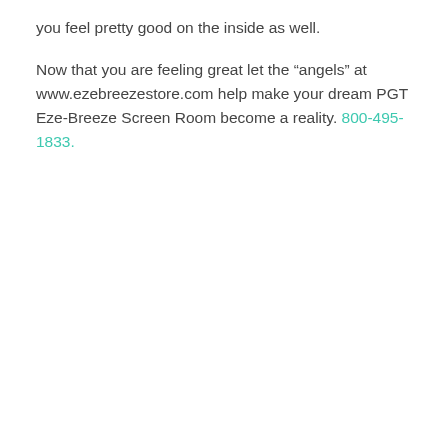you feel pretty good on the inside as well.

Now that you are feeling great let the “angels” at www.ezebreezestore.com help make your dream PGT Eze-Breeze Screen Room become a reality. 800-495-1833.